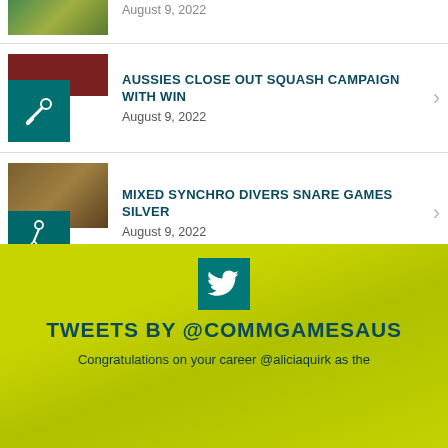[Figure (photo): Partial sports photo (top, cropped) with green/yellow background showing athletes]
August 9, 2022
[Figure (photo): Squash sport photo and teal icon with squash pictogram]
AUSSIES CLOSE OUT SQUASH CAMPAIGN WITH WIN
August 9, 2022
[Figure (photo): Divers photo showing two athletes with medals and teal diving pictogram icon]
MIXED SYNCHRO DIVERS SNARE GAMES SILVER
August 9, 2022
[Figure (logo): Twitter bird icon in teal square]
TWEETS BY @COMMGAMESAUS
Congratulations on your career @aliciaquirk as the